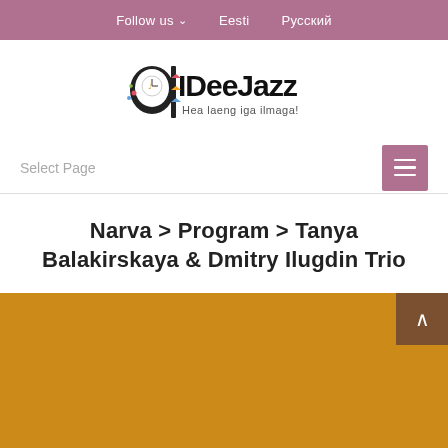Follow us  Eesti  Русский
[Figure (logo): IDeeLazz logo with head silhouette and music notes, tagline: Hea laeng iga ilmaga!]
Select Page
Narva > Program > Tanya Balakirskaya & Dmitry Ilugdin Trio
[Figure (photo): Orange/amber colored background image area, partially visible]